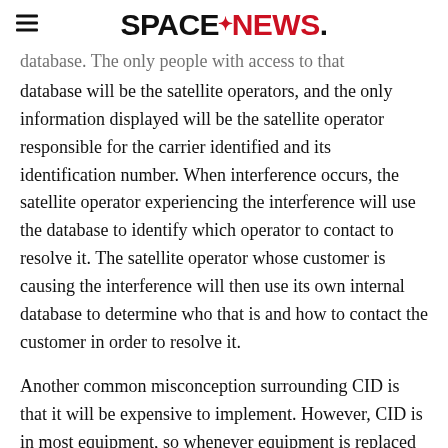SPACENEWS
database will be the satellite operators, and the only information displayed will be the satellite operator responsible for the carrier identified and its identification number. When interference occurs, the satellite operator experiencing the interference will use the database to identify which operator to contact to resolve it. The satellite operator whose customer is causing the interference will then use its own internal database to determine who that is and how to contact the customer in order to resolve it.
Another common misconception surrounding CID is that it will be expensive to implement. However, CID is in most equipment, so whenever equipment is replaced it is likely to have CID. The satellite operators are the